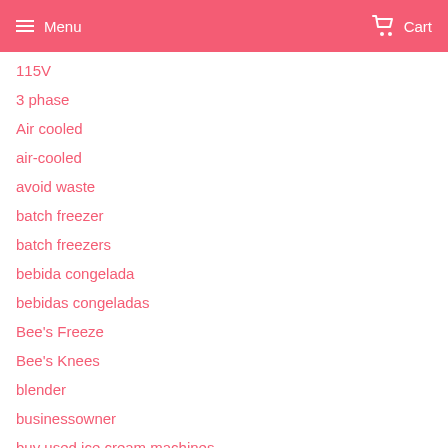Menu  Cart
115V
3 phase
Air cooled
air-cooled
avoid waste
batch freezer
batch freezers
bebida congelada
bebidas congeladas
Bee's Freeze
Bee's Knees
blender
businessowner
buy used ice cream machines
buying a frozen yogurt machine
C713